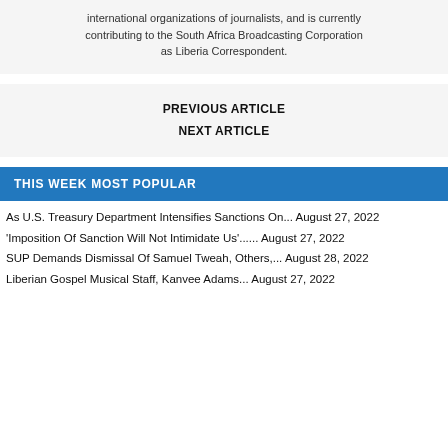international organizations of journalists, and is currently contributing to the South Africa Broadcasting Corporation as Liberia Correspondent.
PREVIOUS ARTICLE
NEXT ARTICLE
THIS WEEK MOST POPULAR
As U.S. Treasury Department Intensifies Sanctions On... August 27, 2022
'Imposition Of Sanction Will Not Intimidate Us'...... August 27, 2022
SUP Demands Dismissal Of Samuel Tweah, Others,... August 28, 2022
Liberian Gospel Musical Staff, Kanvee Adams... August 27, 2022